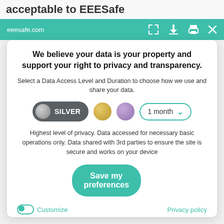acceptable to EEESafe
eeesafe.com
We believe your data is your property and support your right to privacy and transparency.
Select a Data Access Level and Duration to choose how we use and share your data.
[Figure (other): Privacy level selector with SILVER pill button (selected), gold circle, purple circle, and 1 month dropdown]
Highest level of privacy. Data accessed for necessary basic operations only. Data shared with 3rd parties to ensure the site is secure and works on your device
Save my preferences
Customize
Privacy policy